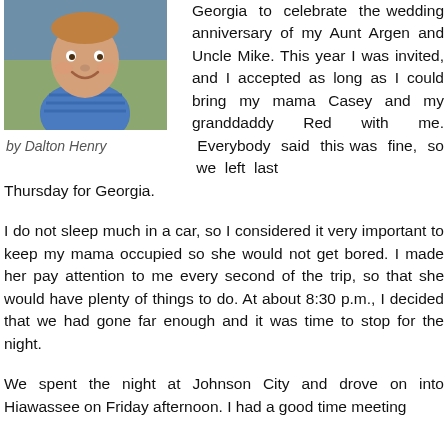[Figure (photo): Photo of a young smiling toddler boy in a blue striped shirt]
by Dalton Henry
Georgia to celebrate the wedding anniversary of my Aunt Argen and Uncle Mike. This year I was invited, and I accepted as long as I could bring my mama Casey and my granddaddy Red with me. Everybody said this was fine, so we left last Thursday for Georgia.
I do not sleep much in a car, so I considered it very important to keep my mama occupied so she would not get bored. I made her pay attention to me every second of the trip, so that she would have plenty of things to do. At about 8:30 p.m., I decided that we had gone far enough and it was time to stop for the night.
We spent the night at Johnson City and drove on into Hiawassee on Friday afternoon. I had a good time meeting